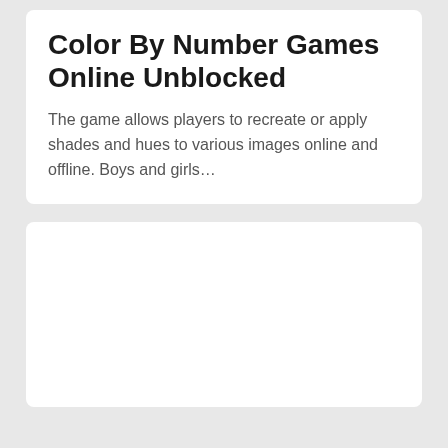Color By Number Games Online Unblocked
The game allows players to recreate or apply shades and hues to various images online and offline. Boys and girls…